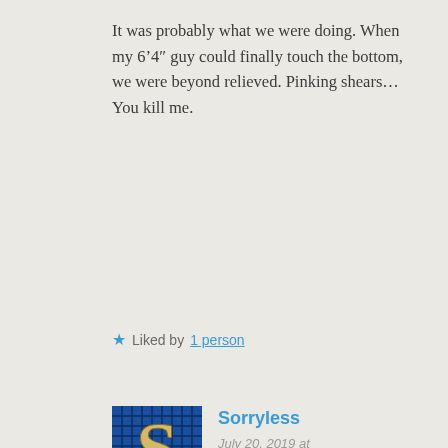It was probably what we were doing. When my 6'4" guy could finally touch the bottom, we were beyond relieved. Pinking shears… You kill me.
★ Liked by 1 person
[Figure (photo): Avatar image showing a mosaic letter S in gold/yellow on blue tile background]
Sorryless
July 20, 2019 at
8:52 am |
Buahahahaha! Yeah, ANY shark is A shark when you are in the water. If someone yelled paper mache shark, I'd probably swim to shore first, investigate second